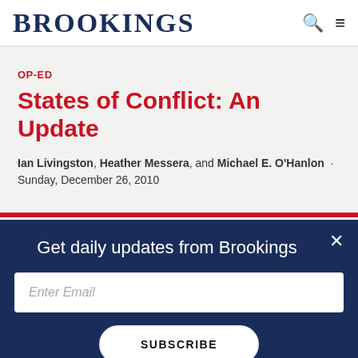BROOKINGS
OP-ED
States of Conflict: An Update
Ian Livingston, Heather Messera, and Michael E. O'Hanlon · Sunday, December 26, 2010
Get daily updates from Brookings
Enter Email
SUBSCRIBE